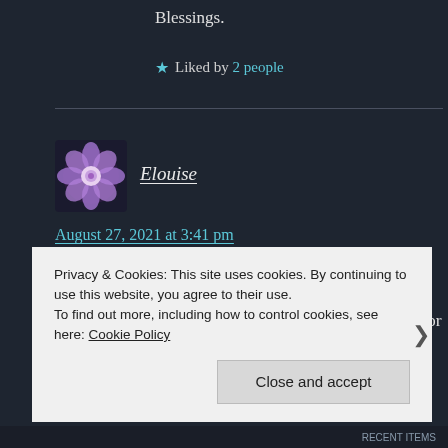Blessings.
★ Liked by 2 people
Elouise
August 27, 2021 at 3:41 pm
What a great list of poison that floats around in the atmosphere daily, and feeds into feelings of shame. For
Privacy & Cookies: This site uses cookies. By continuing to use this website, you agree to their use.
To find out more, including how to control cookies, see here: Cookie Policy
Close and accept